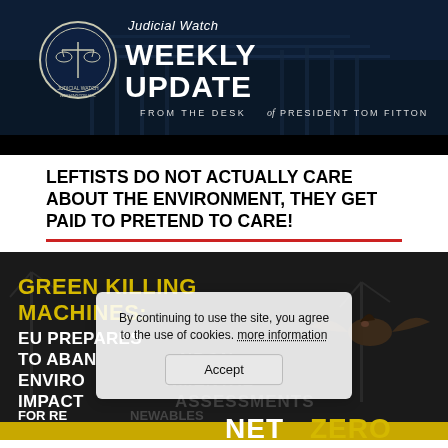[Figure (infographic): Judicial Watch Weekly Update banner with logo, scales of justice seal, and U.S. Capitol building background. Text: 'Judicial Watch WEEKLY UPDATE FROM THE DESK of PRESIDENT TOM FITTON']
LEFTISTS DO NOT ACTUALLY CARE ABOUT THE ENVIRONMENT, THEY GET PAID TO PRETEND TO CARE!
[Figure (infographic): Dark image with wind turbines and a bat. Text overlay: 'GREEN KILLING MACHINES: EU PREPARES TO ABANDON ENVIRONMENTAL IMPACT ASSESSMENTS FOR RENEWABLES' and 'NET ZERO' at the bottom. A cookie consent overlay reads: 'By continuing to use the site, you agree to the use of cookies. more information' with an Accept button.]